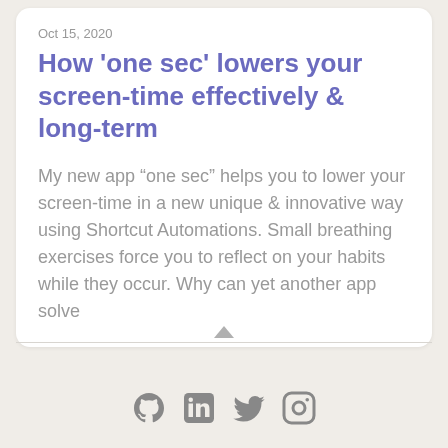Oct 15, 2020
How ‘one sec’ lowers your screen-time effectively & long-term
My new app “one sec” helps you to lower your screen-time in a new unique & innovative way using Shortcut Automations. Small breathing exercises force you to reflect on your habits while they occur. Why can yet another app solve
[Figure (illustration): Up-pointing triangle/arrow scroll indicator above a horizontal divider line]
[Figure (illustration): Social media icons row: GitHub, LinkedIn, Twitter, Instagram]